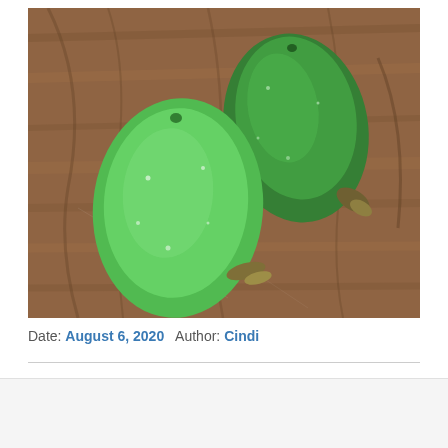[Figure (photo): Two small green cucumbers with spiny tips resting on a wooden cutting board.]
Date: August 6, 2020   Author: Cindi
Follow ...